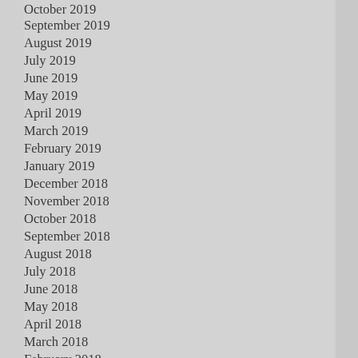October 2019
September 2019
August 2019
July 2019
June 2019
May 2019
April 2019
March 2019
February 2019
January 2019
December 2018
November 2018
October 2018
September 2018
August 2018
July 2018
June 2018
May 2018
April 2018
March 2018
February 2018